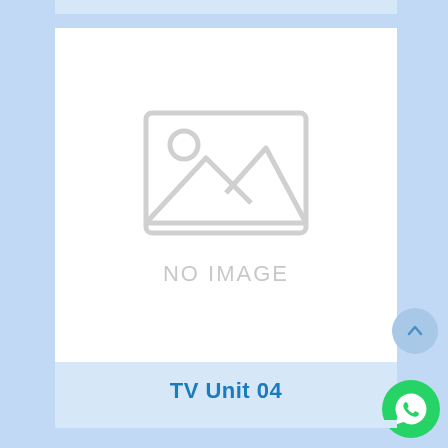[Figure (other): Product listing card with a white image placeholder box showing a generic 'no image' icon (mountain/landscape icon) and the text 'NO IMAGE' below it in light gray.]
TV Unit 04